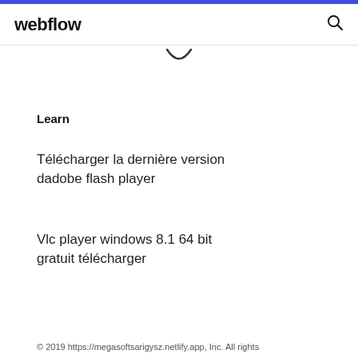webflow
Learn
Télécharger la dernière version dadobe flash player
Vlc player windows 8.1 64 bit gratuit télécharger
© 2019 https://megasoftsarigysz.netlify.app, Inc. All rights